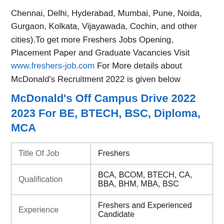Chennai, Delhi, Hyderabad, Mumbai, Pune, Noida, Gurgaon, Kolkata, Vijayawada, Cochin, and other cities).To get more Freshers Jobs Opening, Placement Paper and Graduate Vacancies Visit www.freshers-job.com For More details about McDonald's Recruitment 2022 is given below
McDonald's Off Campus Drive 2022 2023 For BE, BTECH, BSC, Diploma, MCA
|  |  |
| --- | --- |
| Title Of Job | Freshers |
| Qualification | BCA, BCOM, BTECH, CA, BBA, BHM, MBA, BSC |
| Experience | Freshers and Experienced Candidate |
| Location | Across India |